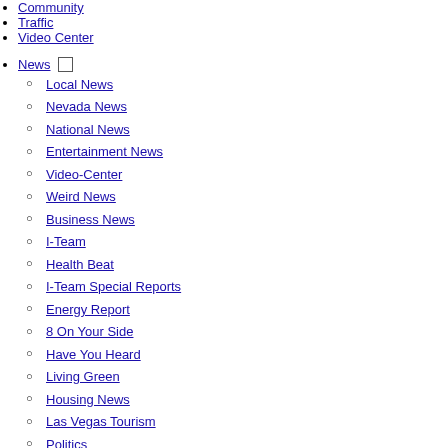Community
Traffic
Video Center
News
Local News
Nevada News
National News
Entertainment News
Video-Center
Weird News
Business News
I-Team
Health Beat
I-Team Special Reports
Energy Report
8 On Your Side
Have You Heard
Living Green
Housing News
Las Vegas Tourism
Politics
Money
Weather